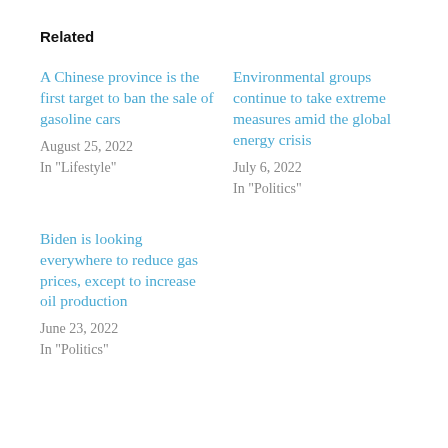Related
A Chinese province is the first target to ban the sale of gasoline cars
August 25, 2022
In "Lifestyle"
Environmental groups continue to take extreme measures amid the global energy crisis
July 6, 2022
In "Politics"
Biden is looking everywhere to reduce gas prices, except to increase oil production
June 23, 2022
In "Politics"